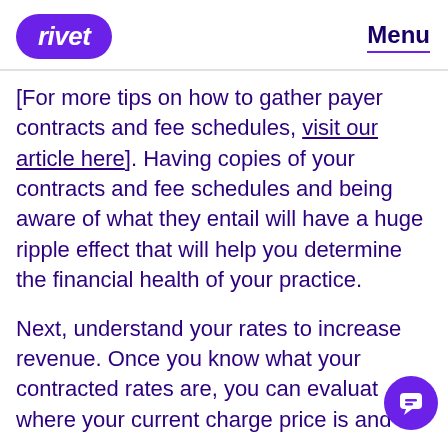rivet   Menu
[For more tips on how to gather payer contracts and fee schedules, visit our article here]. Having copies of your contracts and fee schedules and being aware of what they entail will have a huge ripple effect that will help you determine the financial health of your practice.
Next, understand your rates to increase revenue. Once you know what your contracted rates are, you can evaluate where your current charge price is and